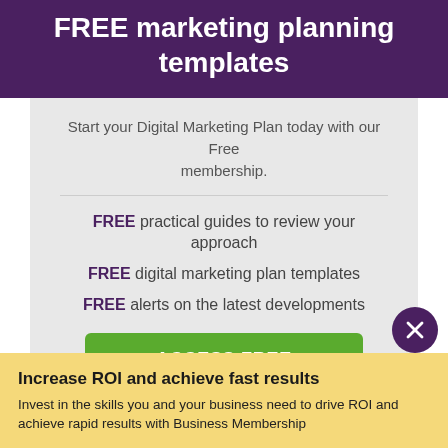FREE marketing planning templates
Start your Digital Marketing Plan today with our Free membership.
FREE practical guides to review your approach
FREE digital marketing plan templates
FREE alerts on the latest developments
ACCESS FREE TEMPLATES
Increase ROI and achieve fast results
Invest in the skills you and your business need to drive ROI and achieve rapid results with Business Membership